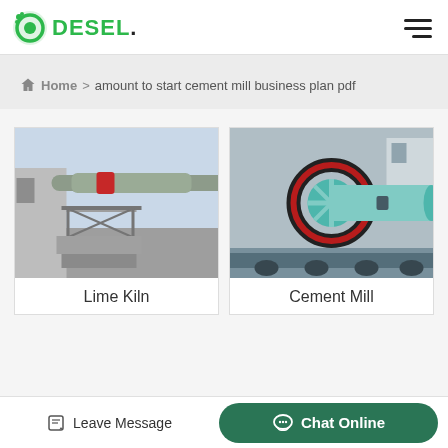DESEL.
Home > amount to start cement mill business plan pdf
[Figure (photo): Lime kiln industrial equipment - large rotary kiln with metal walkway/stairs, outdoor industrial setting]
Lime Kiln
[Figure (photo): Cement mill industrial equipment - large cylindrical ball mill with ring gear, loaded on transport vehicle]
Cement Mill
Leave Message
Chat Online